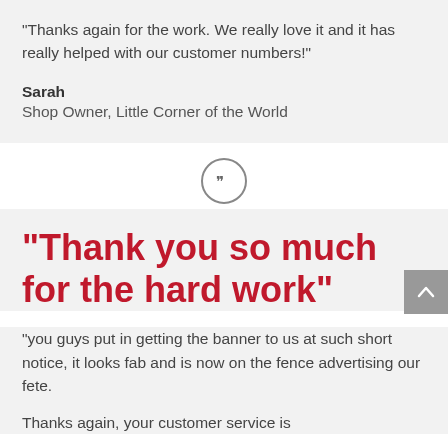“Thanks again for the work. We really love it and it has really helped with our customer numbers!”
Sarah
Shop Owner, Little Corner of the World
[Figure (illustration): Circular quotation mark icon with double closing quotes inside a circle outline]
“Thank you so much for the hard work”
“you guys put in getting the banner to us at such short notice, it looks fab and is now on the fence advertising our fete.
Thanks again, your customer service is